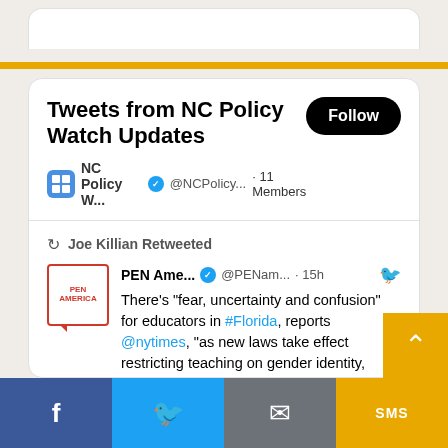Tweets from NC Policy Watch Updates
NC Policy W... @NCPolicy... · 11 Members
Joe Killian Retweeted
PEN Ame... @PENam... · 15h
There's "fear, uncertainty and confusion" for educators in #Florida, reports @nytimes, "as new laws take effect restricting teaching on gender identity, sexual orientation and race and expanding the oversight of books."
nytimes.com/2022/08/27/us/...